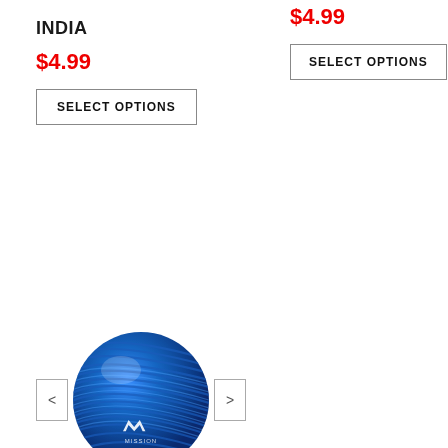INDIA
$4.99
SELECT OPTIONS
$4.99
SELECT OPTIONS
[Figure (photo): Blue Mission brand cooling neck gaiter/tube bundled into a ball shape, with Mission logo visible]
1/5
MISSION COOLING NECK
$19.99